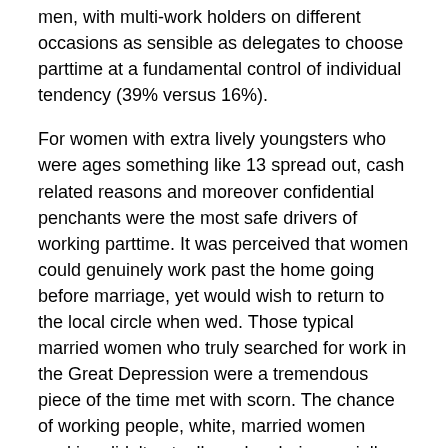men, with multi-work holders on different occasions as sensible as delegates to choose parttime at a fundamental control of individual tendency (39% versus 16%).
For women with extra lively youngsters who were ages something like 13 spread out, cash related reasons and moreover confidential penchants were the most safe drivers of working parttime. It was perceived that women could genuinely work past the home going before marriage, yet would wish to return to the local circle when wed. Those typical married women who truly searched for work in the Great Depression were a tremendous piece of the time met with scorn. The chance of working people, white, married women working didn't actually end up being socially seen until the 1940s, with the opening up of gigantic proportions of essential clash occupations to women in 1940. Wikipedia adds that the marriage bar commonly affected educated, ordinary married women, especially white women brought into the world in the United States.
While the census of fathers and large number U.S. carving...